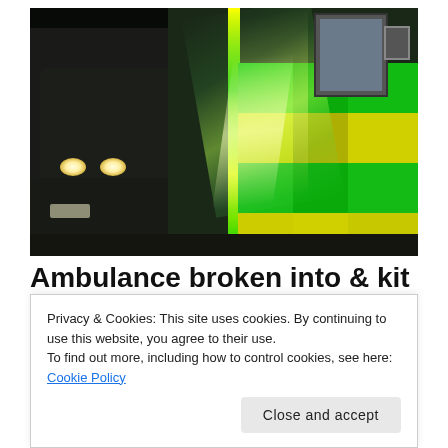[Figure (photo): Night-time photo of an ambulance with distinctive green and yellow checkerboard livery, brightly lit. A second vehicle with white headlights is visible in the background on the left.]
Ambulance broken into & kit
Privacy & Cookies: This site uses cookies. By continuing to use this website, you agree to their use.
To find out more, including how to control cookies, see here: Cookie Policy
Close and accept